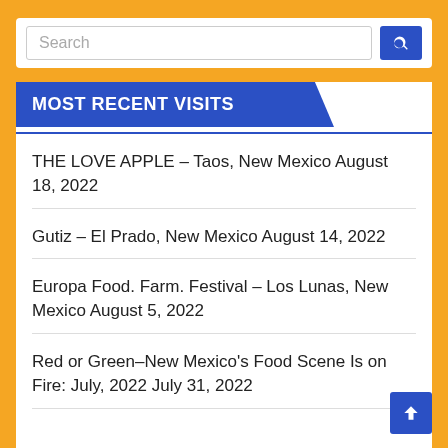[Figure (screenshot): Search bar with text input field and blue search button with magnifying glass icon]
MOST RECENT VISITS
THE LOVE APPLE – Taos, New Mexico August 18, 2022
Gutiz – El Prado, New Mexico August 14, 2022
Europa Food. Farm. Festival – Los Lunas, New Mexico August 5, 2022
Red or Green–New Mexico's Food Scene Is on Fire: July, 2022 July 31, 2022